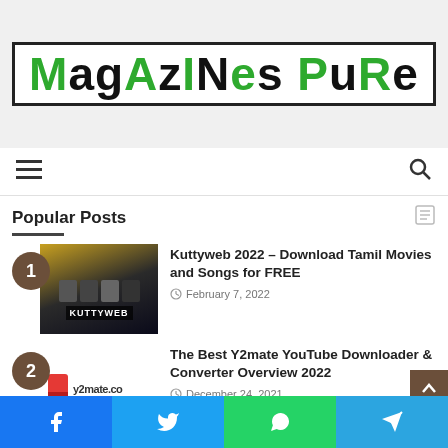[Figure (logo): Magazines Pure logo with mixed green and black bold text inside a hand-drawn border rectangle]
Navigation bar with hamburger menu icon and search icon
Popular Posts
Kuttyweb 2022 – Download Tamil Movies and Songs for FREE
February 7, 2022
The Best Y2mate YouTube Downloader & Converter Overview 2022
December 24, 2021
Social share bar: Facebook, Twitter, WhatsApp, Telegram